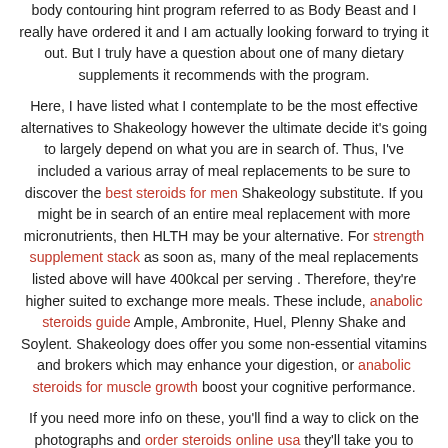body contouring hint program referred to as Body Beast and I really have ordered it and I am actually looking forward to trying it out. But I truly have a question about one of many dietary supplements it recommends with the program.

Here, I have listed what I contemplate to be the most effective alternatives to Shakeology however the ultimate decide it's going to largely depend on what you are in search of. Thus, I've included a various array of meal replacements to be sure to discover the best steroids for men Shakeology substitute. If you might be in search of an entire meal replacement with more micronutrients, then HLTH may be your alternative. For strength supplement stack as soon as, many of the meal replacements listed above will have 400kcal per serving . Therefore, they're higher suited to exchange more meals. These include, anabolic steroids guide Ample, Ambronite, Huel, Plenny Shake and Soylent. Shakeology does offer you some non-essential vitamins and brokers which may enhance your digestion, or anabolic steroids for muscle growth boost your cognitive performance.

If you need more info on these, you'll find a way to click on the photographs and order steroids online usa they'll take you to Beachbody to find out more. Your lovely child has been born and